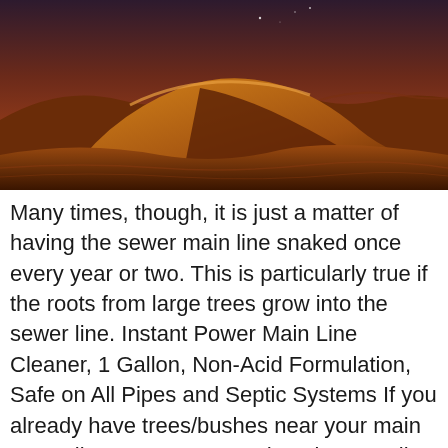[Figure (photo): A desert landscape at dusk/twilight showing rolling sand dunes with warm orange-red tones and a dark reddish-purple sky.]
Many times, though, it is just a matter of having the sewer main line snaked once every year or two. This is particularly true if the roots from large trees grow into the sewer line. Instant Power Main Line Cleaner, 1 Gallon, Non-Acid Formulation, Safe on All Pipes and Septic Systems If you already have trees/bushes near your main sewer line, we recommend getting your line cleaned annually to prevent root clogs. Tip #4: Use an enzyme cleaner every few months Many common drain cleaners